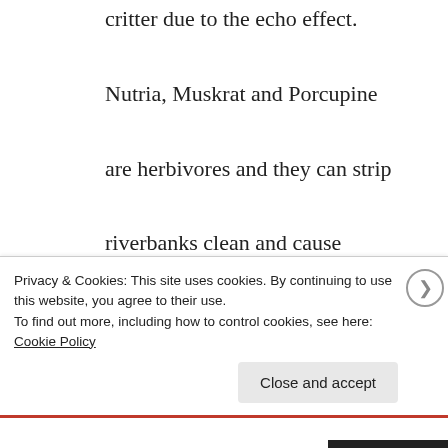critter due to the echo effect. Nutria, Muskrat and Porcupine are herbivores and they can strip riverbanks clean and cause serious erosion issues and conflicts. The Wildlife Professionals can put an end to this for you once and for all. Bird Removal -Bird Control service in city.
Privacy & Cookies: This site uses cookies. By continuing to use this website, you agree to their use.
To find out more, including how to control cookies, see here: Cookie Policy
Close and accept